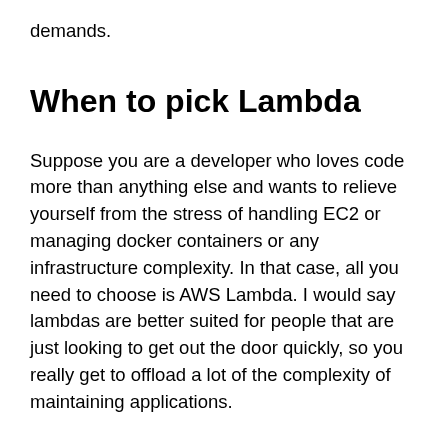demands.
When to pick Lambda
Suppose you are a developer who loves code more than anything else and wants to relieve yourself from the stress of handling EC2 or managing docker containers or any infrastructure complexity. In that case, all you need to choose is AWS Lambda. I would say lambdas are better suited for people that are just looking to get out the door quickly, so you really get to offload a lot of the complexity of maintaining applications.
Here the entire system just operates on code, and you can upload your code onto the Lambda functions,